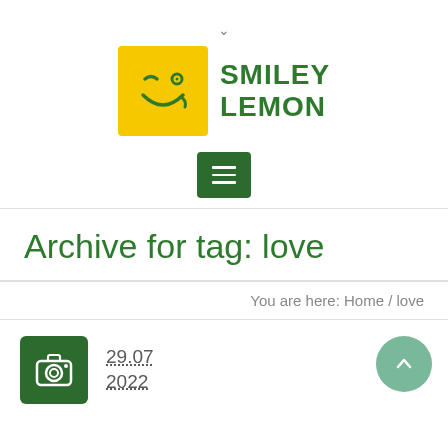[Figure (logo): Smiley Lemon logo: yellow square with green winking smiley face icon, and green text SMILEY LEMON to the right]
[Figure (other): Dark green hamburger menu button with three white horizontal lines]
Archive for tag: love
You are here: Home / love
29.07
2022